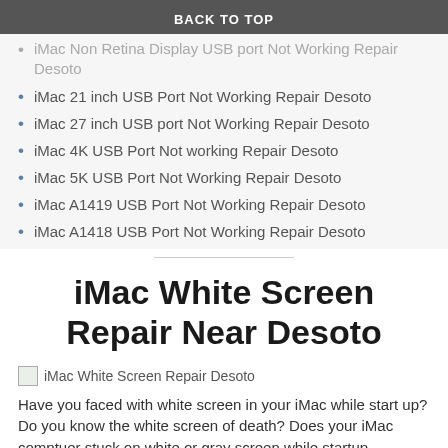BACK TO TOP
iMac Non Retina Display USB port Not Working Repair Desoto
iMac 21 inch USB Port Not Working Repair Desoto
iMac 27 inch USB port Not Working Repair Desoto
iMac 4K USB Port Not working Repair Desoto
iMac 5K USB Port Not Working Repair Desoto
iMac A1419 USB Port Not Working Repair Desoto
iMac A1418 USB Port Not Working Repair Desoto
iMac White Screen Repair Near Desoto
[Figure (photo): iMac White Screen Repair Desoto image placeholder]
Have you faced with white screen in your iMac while start up? Do you know the white screen of death? Does your iMac comptuer stuck on white or gray screen while startup